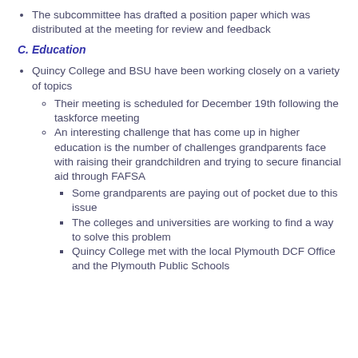The subcommittee has drafted a position paper which was distributed at the meeting for review and feedback
C. Education
Quincy College and BSU have been working closely on a variety of topics
Their meeting is scheduled for December 19th following the taskforce meeting
An interesting challenge that has come up in higher education is the number of challenges grandparents face with raising their grandchildren and trying to secure financial aid through FAFSA
Some grandparents are paying out of pocket due to this issue
The colleges and universities are working to find a way to solve this problem
Quincy College met with the local Plymouth DCF Office and the Plymouth Public Schools